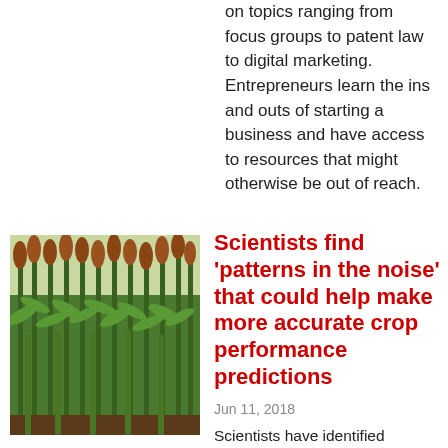on topics ranging from focus groups to patent law to digital marketing. Entrepreneurs learn the ins and outs of starting a business and have access to resources that might otherwise be out of reach.
[Figure (photo): Photo of tall sorghum plants growing in a field, with green stalks and reddish-brown seed heads visible.]
Scientists find 'patterns in the noise' that could help make more accurate crop performance predictions
Jun 11, 2018
Scientists have identified patterns in how and when sorghum plants